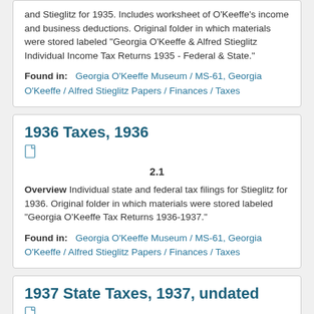and Stieglitz for 1935. Includes worksheet of O'Keeffe's income and business deductions. Original folder in which materials were stored labeled "Georgia O'Keeffe & Alfred Stieglitz Individual Income Tax Returns 1935 - Federal & State."
Found in: Georgia O'Keeffe Museum / MS-61, Georgia O'Keeffe / Alfred Stieglitz Papers / Finances / Taxes
1936 Taxes, 1936
2.1
Overview Individual state and federal tax filings for Stieglitz for 1936. Original folder in which materials were stored labeled "Georgia O'Keeffe Tax Returns 1936-1937."
Found in: Georgia O'Keeffe Museum / MS-61, Georgia O'Keeffe / Alfred Stieglitz Papers / Finances / Taxes
1937 State Taxes, 1937, undated